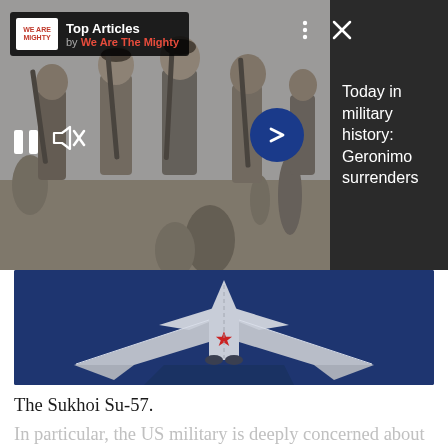[Figure (screenshot): Top Articles overlay bar with 'We Are The Mighty' logo, 'Top Articles' heading, three-dot menu and X close button, on a mobile web interface showing a black and white historical photo of Native American warriors with rifles, pause and mute media controls, forward arrow button, and right dark panel with text 'Today in military history: Geronimo surrenders']
[Figure (photo): Partial view of a Sukhoi Su-57 stealth fighter jet aircraft seen from above, showing the distinctive blue-gray delta wing shape with a red star marking, set against a dark blue background]
The Sukhoi Su-57.
In particular, the US military is deeply concerned about the Chinese PL-15, an active radar-guided very long range air-to-air missile (VLRAAM) with a suspected range of about 200 km. The Chinese military is also